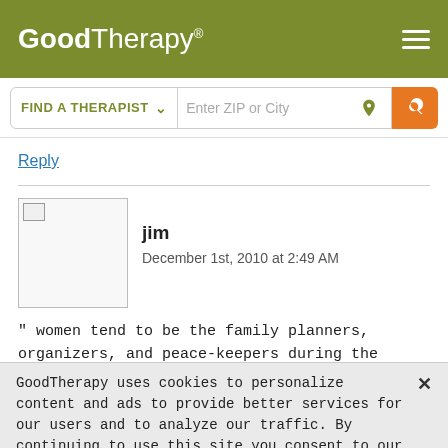[Figure (logo): GoodTherapy logo with registration mark on olive/green header background]
[Figure (screenshot): Search bar with FIND A THERAPIST dropdown and Enter ZIP or City input field with orange search button]
Reply
jim
December 1st, 2010 at 2:49 AM
" women tend to be the family planners, organizers, and peace-keepers during the Holidays. In most families, women are still the ones who write the cards, bake the cookies, and change the sheets for visiting guests."
GoodTherapy uses cookies to personalize content and ads to provide better services for our users and to analyze our traffic. By continuing to use this site you consent to our cookies.